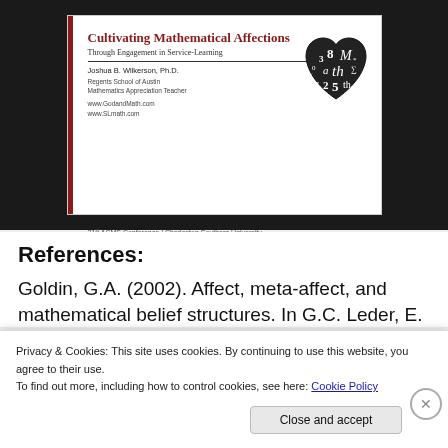[Figure (screenshot): Presentation slide for 'Cultivating Mathematical Affections Through Engagement in Service-Learning' by Joshua B. Wilkerson, Ph.D., Regents School of Austin, Mathematics Appreciation Teacher. Includes a heart-shaped math typography logo. 21st ACMS Conference / Charleston Southern University.]
References:
Goldin, G.A. (2002). Affect, meta-affect, and mathematical belief structures. In G.C. Leder, E.
Privacy & Cookies: This site uses cookies. By continuing to use this website, you agree to their use. To find out more, including how to control cookies, see here: Cookie Policy
Close and accept